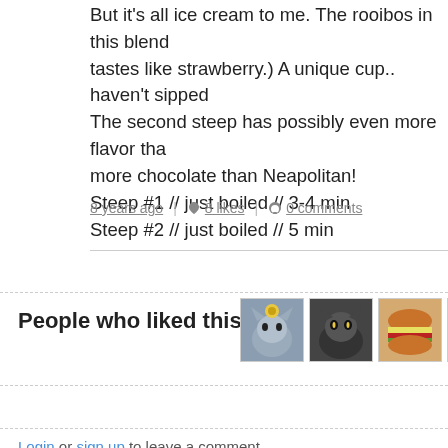But it's all ice cream to me. The rooibos in this blend tastes like strawberry.) A unique cup.. haven't sipped The second steep has possibly even more flavor tha more chocolate than Neapolitan!
Steep #1 // just boiled // 3-4 min
Steep #2 // just boiled // 5 min
8 years ago | 8 likes | 0 comments
People who liked this
[Figure (photo): Five user avatar thumbnails showing people who liked the post]
Login or sign up to leave a comment.